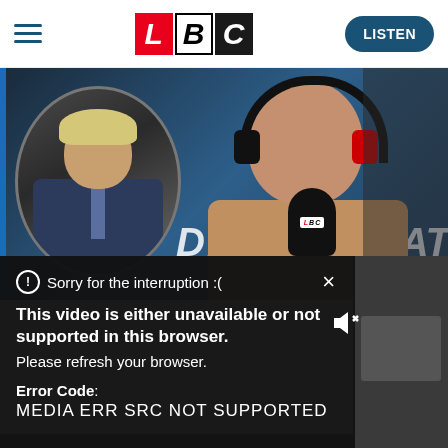LBC — hamburger menu, LBC logo, LISTEN button
[Figure (screenshot): LBC website screenshot showing a video player with a circular inset photo of Boris Johnson on the left and a presenter wearing headphones speaking into an LBC-branded microphone on the right. Background shows partial LBC branding text.]
⓵ Sorry for the interruption :(
This video is either unavailable or not supported in this browser. Please refresh your browser.
Error Code:
MEDIA ERR SRC NOT SUPPORTED
James O'Brie